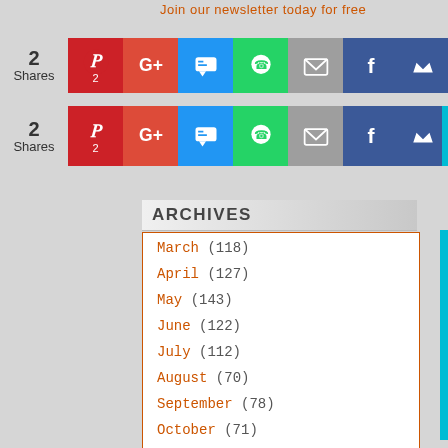Join our newsletter today for free
[Figure (infographic): Social sharing bar with 2 Shares badge and icons: Pinterest (2), Google+, SMS, WhatsApp, Email, Facebook, Crown — repeated twice]
ARCHIVES
March (118)
April (127)
May (143)
June (122)
July (112)
August (70)
September (78)
October (71)
November (76)
December (48)
January (56)